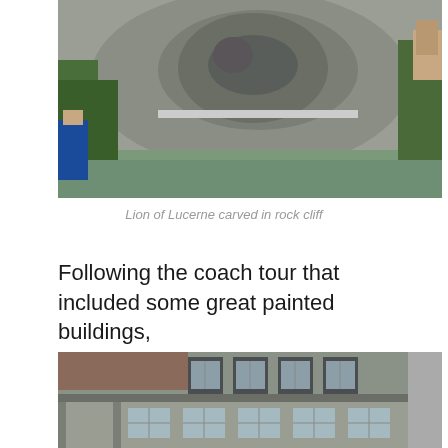[Figure (photo): Lion of Lucerne monument carved in rock cliff, with a reflecting pool in front. Tourists visible on the sides taking photos.]
Lion of Lucerne carved in rock cliff
Following the coach tour that included some great painted buildings,
[Figure (photo): Painted building facade with multiple windows, showing ornate European-style architecture in Lucerne.]